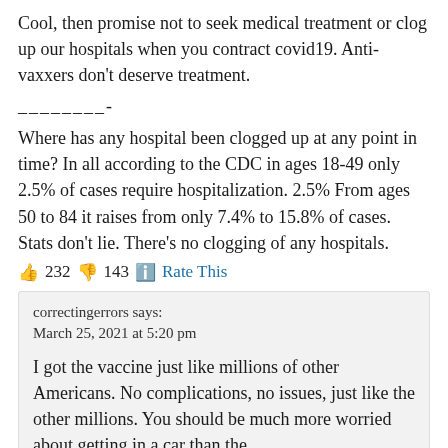Cool, then promise not to seek medical treatment or clog up our hospitals when you contract covid19. Anti-vaxxers don't deserve treatment.
________-
Where has any hospital been clogged up at any point in time? In all according to the CDC in ages 18-49 only 2.5% of cases require hospitalization. 2.5% From ages 50 to 84 it raises from only 7.4% to 15.8% of cases. Stats don't lie. There's no clogging of any hospitals.
👍 232 👎 143 ℹ️ Rate This
correctingerrors says:
March 25, 2021 at 5:20 pm
I got the vaccine just like millions of other Americans. No complications, no issues, just like the other millions. You should be much more worried about getting in a car than the